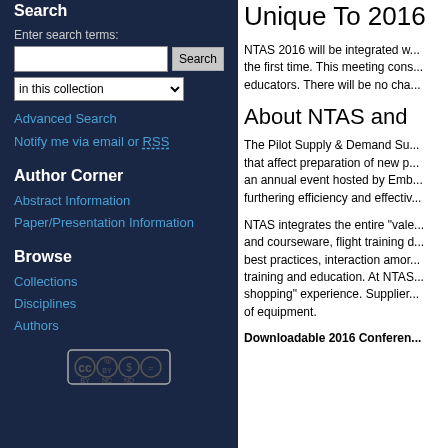Search
Enter search terms:
in this collection
Advanced Search
Notify me via email or RSS
Author Corner
Abstract Information
Paper/Presentation Information
Browse
Collections
Disciplines
Authors
[Figure (logo): Creative Commons license logo with BY NC ND icons]
Unique To 2016
NTAS 2016 will be integrated w... the first time. This meeting cons... educators. There will be no cha...
About NTAS and
The Pilot Supply & Demand Su... that affect preparation of new p... an annual event hosted by Emb... furthering efficiency and effectiv...
NTAS integrates the entire "vale... and courseware, flight training d... best practices, interaction amor... training and education. At NTAS... shopping" experience. Supplier... of equipment.
Downloadable 2016 Conferen...